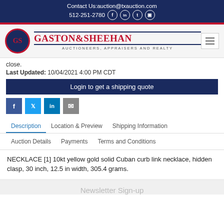Contact Us:auction@txauction.com 512-251-2780
[Figure (logo): Gaston & Sheehan Auctioneers, Appraisers and Realty logo with GS monogram oval]
close.
Last Updated: 10/04/2021 4:00 PM CDT
Login to get a shipping quote
Description  Location & Preview  Shipping Information  Auction Details  Payments  Terms and Conditions
NECKLACE [1] 10kt yellow gold solid Cuban curb link necklace, hidden clasp, 30 inch, 12.5 in width, 305.4 grams.
Newsletter Sign-up